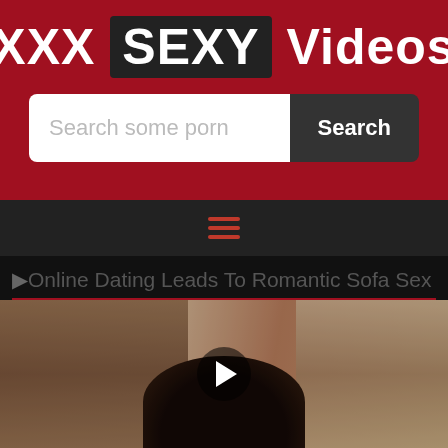XXX SEXY Videos
[Figure (screenshot): Search bar with placeholder text 'Search some porn' and a dark Search button]
[Figure (other): Navigation bar with hamburger menu icon in red]
⏵Online Dating Leads To Romantic Sofa Sex
[Figure (photo): Video thumbnail showing adult content with a play button overlay]